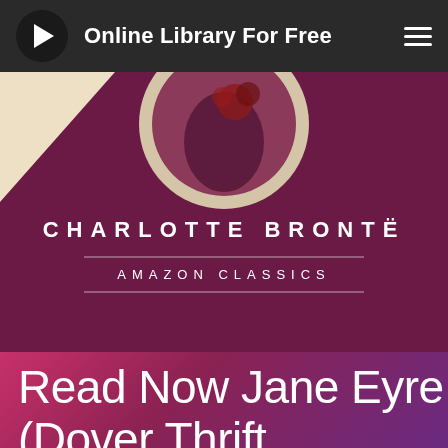Online Library For Free
[Figure (illustration): Book cover for Jane Eyre by Charlotte Brontë, Amazon Classics edition. Dark maroon/purple background with a circular decorative image at top showing a woman in period dress with roses. Author name CHARLOTTE BRONTË in large white spaced letters, with AMAZON CLASSICS below a horizontal dividing line.]
Read Now Jane Eyre (Dover Thrift